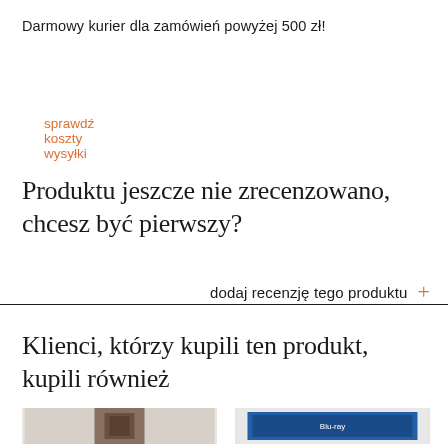Darmowy kurier dla zamówień powyżej 500 zł!
sprawdź koszty wysyłki
Produktu jeszcze nie zrecenzowano, chcesz być pierwszy?
dodaj recenzję tego produktu +
Klienci, którzy kupili ten produkt, kupili również
[Figure (photo): Two product thumbnail images shown at the bottom of the page]